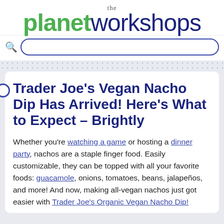[Figure (logo): The planet workshops logo with 'the' in small serif text above, 'planet' in large bold green text and 'workshops' in large thin dark navy text]
[Figure (screenshot): Search bar with magnifying glass icon and rounded blue-bordered input field]
Trader Joe's Vegan Nacho Dip Has Arrived! Here's What to Expect – Brightly
Whether you're watching a game or hosting a dinner party, nachos are a staple finger food. Easily customizable, they can be topped with all your favorite foods: guacamole, onions, tomatoes, beans, jalapeños, and more! And now, making all-vegan nachos just got easier with Trader Joe's Organic Vegan Nacho Dip!